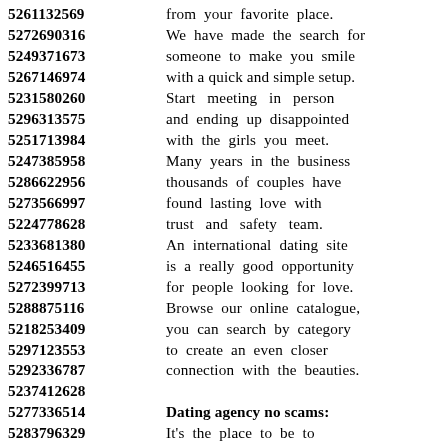5261132569 from your favorite place.
5272690316 We have made the search for
5249371673 someone to make you smile
5267146974 with a quick and simple setup.
5231580260 Start meeting in person
5296313575 and ending up disappointed
5251713984 with the girls you meet.
5247385958 Many years in the business
5286622956 thousands of couples have
5273566997 found lasting love with
5224778628 trust and safety team.
5233681380 An international dating site
5246516455 is a really good opportunity
5272399713 for people looking for love.
5288875116 Browse our online catalogue,
5218253409 you can search by category
5297123553 to create an even closer
5292336787 connection with the beauties.
5237412628
5277336514 Dating agency no scams:
5283796329 It's the place to be to
5236573488 meet your best friend for life.
5237565249 Browse thousands of profiles
5291660509 of single men and women.
5218158794 We're confident that we can